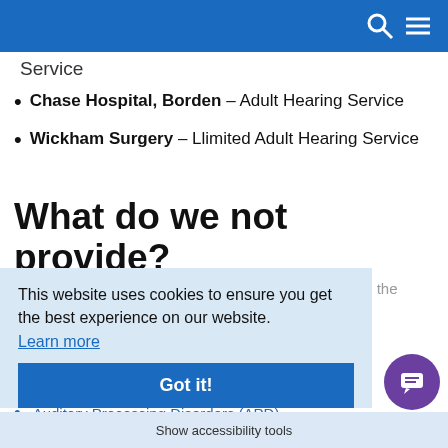Service
Chase Hospital, Borden – Adult Hearing Service
Wickham Surgery – Llimited Adult Hearing Service
What do we not provide?
Currently this department does not provide services in the following areas, we refer patients or commission another service to provide the following:
This website uses cookies to ensure you get the best experience on our website. Learn more
Got it!
Auditory Processing Disorders (APD)
Cochlear Implants or other hearing im...
Show accessibility tools